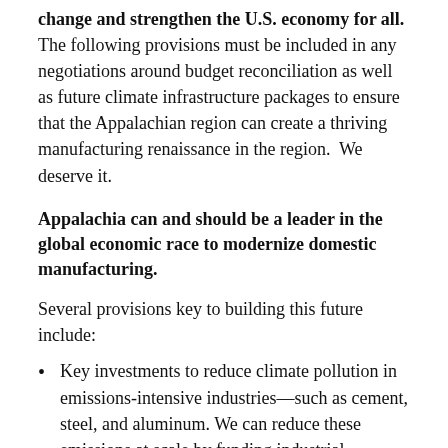change and strengthen the U.S. economy for all. The following provisions must be included in any negotiations around budget reconciliation as well as future climate infrastructure packages to ensure that the Appalachian region can create a thriving manufacturing renaissance in the region.  We deserve it.
Appalachia can and should be a leader in the global economic race to modernize domestic manufacturing.
Several provisions key to building this future include:
Key investments to reduce climate pollution in emissions-intensive industries—such as cement, steel, and aluminum. We can reduce these emissions at scale by funding industrial